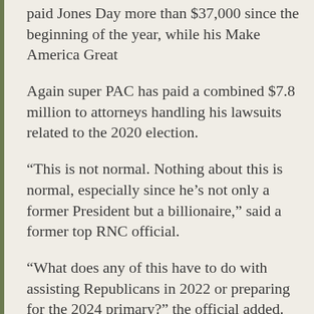paid Jones Day more than $37,000 since the beginning of the year, while his Make America Great
Again super PAC has paid a combined $7.8 million to attorneys handling his lawsuits related to the 2020 election.
“This is not normal. Nothing about this is normal, especially since he’s not only a former President but a billionaire,” said a former top RNC official.
“What does any of this have to do with assisting Republicans in 2022 or preparing for the 2024 primary?” the official added.